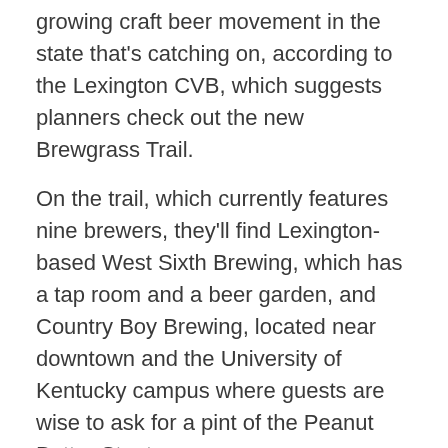growing craft beer movement in the state that's catching on, according to the Lexington CVB, which suggests planners check out the new Brewgrass Trail.
On the trail, which currently features nine brewers, they'll find Lexington-based West Sixth Brewing, which has a tap room and a beer garden, and Country Boy Brewing, located near downtown and the University of Kentucky campus where guests are wise to ask for a pint of the Peanut Butter Stout.
NATIONAL CORVETTE MUSEUM, BOWLING GREEN
www.corvettemuseum.org
The National Corvette Museum, featuring special exhibits and more than 70 Corvettes